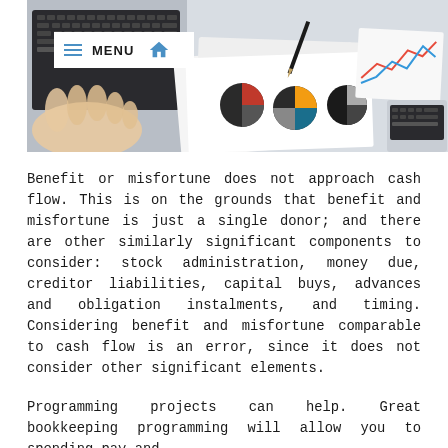[Figure (photo): Photo of hands working on a laptop keyboard with financial charts and pie charts printed on paper in the background, along with another laptop/keyboard partially visible.]
Benefit or misfortune does not approach cash flow. This is on the grounds that benefit and misfortune is just a single donor; and there are other similarly significant components to consider: stock administration, money due, creditor liabilities, capital buys, advances and obligation instalments, and timing. Considering benefit and misfortune comparable to cash flow is an error, since it does not consider other significant elements.
Programming projects can help. Great bookkeeping programming will allow you to spending pay and